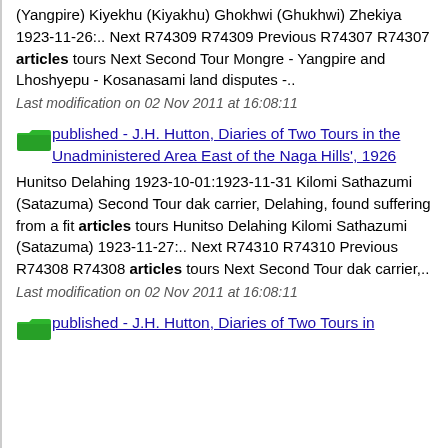(Yangpire) Kiyekhu (Kiyakhu) Ghokhwi (Ghukhwi) Zhekiya 1923-11-26:.. Next R74309 R74309 Previous R74307 R74307 articles tours Next Second Tour Mongre - Yangpire and Lhoshyepu - Kosanasami land disputes -..
Last modification on 02 Nov 2011 at 16:08:11
published - J.H. Hutton, Diaries of Two Tours in the Unadministered Area East of the Naga Hills', 1926
Hunitso Delahing 1923-10-01:1923-11-31 Kilomi Sathazumi (Satazuma) Second Tour dak carrier, Delahing, found suffering from a fit articles tours Hunitso Delahing Kilomi Sathazumi (Satazuma) 1923-11-27:.. Next R74310 R74310 Previous R74308 R74308 articles tours Next Second Tour dak carrier,..
Last modification on 02 Nov 2011 at 16:08:11
published - J.H. Hutton, Diaries of Two Tours in